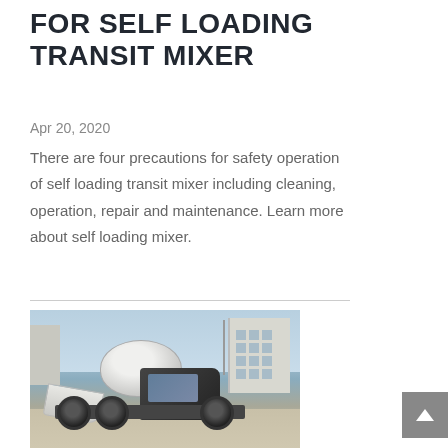FOR SELF LOADING TRANSIT MIXER
Apr 20, 2020
There are four precautions for safety operation of self loading transit mixer including cleaning, operation, repair and maintenance. Learn more about self loading mixer.
[Figure (photo): A self-loading transit mixer truck with rotating drum and front-mounted loading scoop, parked in an industrial yard with buildings in the background.]